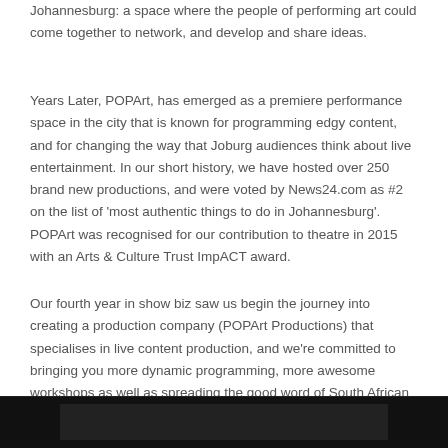Johannesburg: a space where the people of performing art could come together to network, and develop and share ideas.
Years Later, POPArt, has emerged as a premiere performance space in the city that is known for programming edgy content, and for changing the way that Joburg audiences think about live entertainment. In our short history, we have hosted over 250 brand new productions, and were voted by News24.com as #2 on the list of 'most authentic things to do in Johannesburg'. POPArt was recognised for our contribution to theatre in 2015 with an Arts & Culture Trust ImpACT award.
Our fourth year in show biz saw us begin the journey into creating a production company (POPArt Productions) that specialises in live content production, and we're committed to bringing you more dynamic programming, more awesome workshops as well as spreading the good word of South African performing arts to the global stage...
[Figure (photo): Dark/black image bar at the bottom of the page, appears to be a photo of a performance space or stage, mostly dark.]